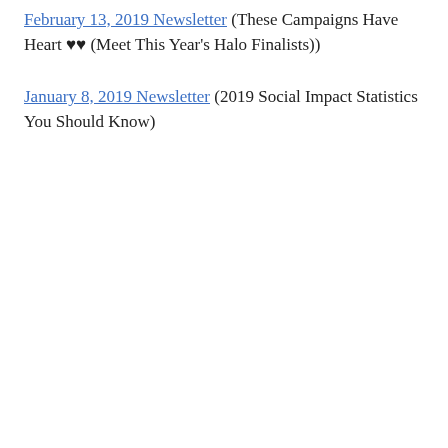February 13, 2019 Newsletter (These Campaigns Have Heart ♥♥ (Meet This Year's Halo Finalists))
January 8, 2019 Newsletter (2019 Social Impact Statistics You Should Know)